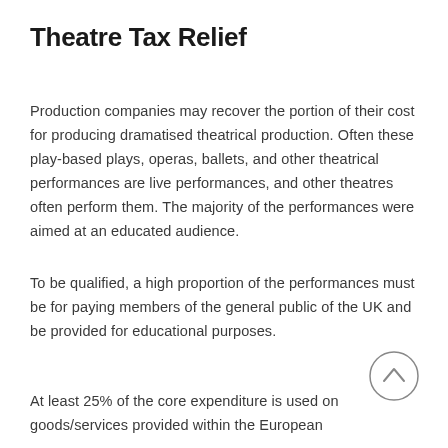Theatre Tax Relief
Production companies may recover the portion of their cost for producing dramatised theatrical production. Often these play-based plays, operas, ballets, and other theatrical performances are live performances, and other theatres often perform them. The majority of the performances were aimed at an educated audience.
To be qualified, a high proportion of the performances must be for paying members of the general public of the UK and be provided for educational purposes.
At least 25% of the core expenditure is used on goods/services provided within the European